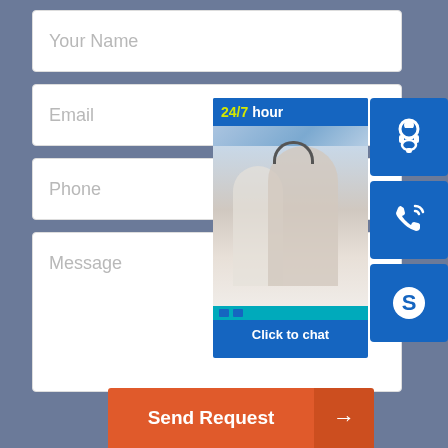[Figure (screenshot): Contact form with fields: Your Name, Email, Phone, Message, and a Send Request button. Overlaid with a 24/7 live chat widget showing customer service agents, icons for headset, phone, and Skype, and a 'Click to chat' label.]